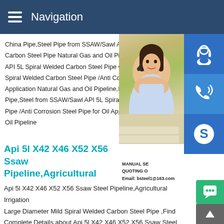Navigation
China Pipe,Steel Pipe from SSAW/Sawl A Carbon Steel Pipe Natural Gas and Oil Pip API 5L Spiral Welded Carbon Steel Pipe C Spiral Welded Carbon Steel Pipe /Anti Cor Application Natural Gas and Oil Pipeline,F Pipe,Steel from SSAW/Sawl API 5L Spiral Pipe /Anti Corrosion Steel Pipe for Oil App Oil Pipeline
[Figure (photo): Customer service representative woman with headset, smiling, with blue icon buttons for support, phone, and Skype on the right side. Text 'MANUAL SE... QUOTING O... Email: bsteel1@163.com' below.]
Api 5l X42 X46 X52 X56 Ssaw Steel Pipeline,Agricultural
Api 5l X42 X46 X52 X56 Ssaw Steel Pipeline,Agricultural Irrigation Large Diameter Mild Spiral Welded Carbon Steel Pipe ,Find Complete Details about Api 5l X42 X46 X52 X56 Ssaw Steel Pipeline,Agricultural Irrigation Large Diameter Mild Spiral Welded Carbon Steel Pipe,Ssaw Spiral Steel Pipe,Welded Pipe Spiral